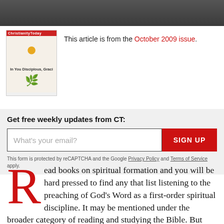[Figure (photo): Dark gradient header bar at top of page]
This article is from the October 2009 issue.
[Figure (photo): Christianity Today magazine cover for October 2009 issue showing a hand holding something on a field background with red masthead]
Get free weekly updates from CT:
What's your email?
SIGN UP
This form is protected by reCAPTCHA and the Google Privacy Policy and Terms of Service apply.
Read books on spiritual formation and you will be hard pressed to find any that list listening to the preaching of God’s Word as a first-order spiritual discipline. It may be mentioned under the broader category of reading and studying the Bible. But listening to preaching deserves